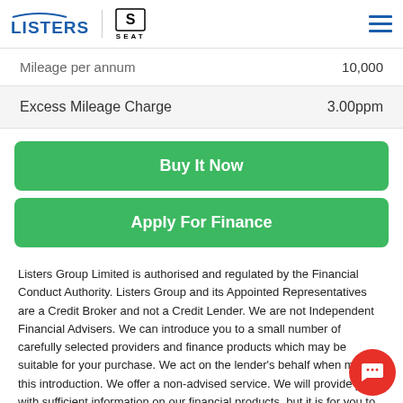LISTERS | SEAT
|  |  |
| --- | --- |
| Mileage per annum | 10,000 |
| Excess Mileage Charge | 3.00ppm |
Buy It Now
Apply For Finance
Listers Group Limited is authorised and regulated by the Financial Conduct Authority. Listers Group and its Appointed Representatives are a Credit Broker and not a Credit Lender. We are not Independent Financial Advisers. We can introduce you to a small number of carefully selected providers and finance products which may be suitable for your purchase. We act on the lender's behalf when making this introduction. We offer a non-advised service. We will provide you with sufficient information on our financial products, but it is for you to decide whether the finance